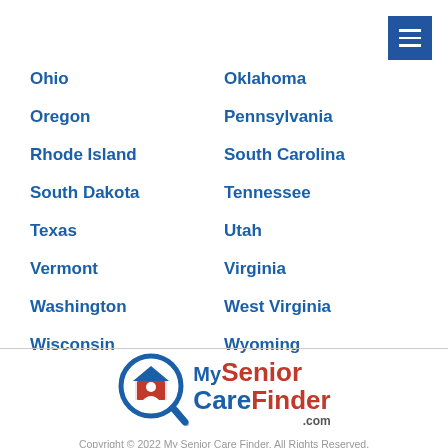≡ (menu button)
Ohio
Oklahoma
Oregon
Pennsylvania
Rhode Island
South Carolina
South Dakota
Tennessee
Texas
Utah
Vermont
Virginia
Washington
West Virginia
Wisconsin
Wyoming
[Figure (logo): My Senior Care Finder .com logo with magnifying glass icon]
Copyright © 2022 My Senior Care Finder. All Rights Reserved.
Terms of Use/Privacy | Login | Home